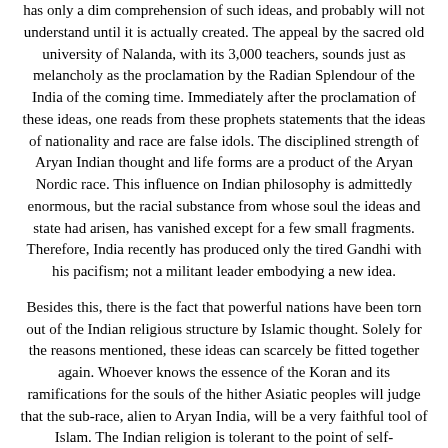has only a dim comprehension of such ideas, and probably will not understand until it is actually created. The appeal by the sacred old university of Nalanda, with its 3,000 teachers, sounds just as melancholy as the proclamation by the Radian Splendour of the India of the coming time. Immediately after the proclamation of these ideas, one reads from these prophets statements that the ideas of nationality and race are false idols. The disciplined strength of Aryan Indian thought and life forms are a product of the Aryan Nordic race. This influence on Indian philosophy is admittedly enormous, but the racial substance from whose soul the ideas and state had arisen, has vanished except for a few small fragments. Therefore, India recently has produced only the tired Gandhi with his pacifism; not a militant leader embodying a new idea.
Besides this, there is the fact that powerful nations have been torn out of the Indian religious structure by Islamic thought. Solely for the reasons mentioned, these ideas can scarcely be fitted together again. Whoever knows the essence of the Koran and its ramifications for the souls of the hither Asiatic peoples will judge that the sub-race, alien to Aryan India, will be a very faithful tool of Islam. The Indian religion is tolerant to the point of self-dissolution; Islam is fanatical to the point of self-sacrifice.
The Indian asserts that softness is harder than hardness; like Lao Tse, he says: Be humble and you will be the master of mankind. The reality speaks to the contrary of this idea. The spirit of...